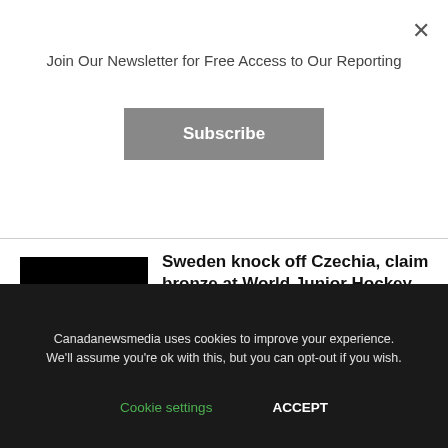Join Our Newsletter for Free Access to Our Reporting
Subscribe
Sweden knock off Czechia, claim bronze at World Junior Hockey Championship – TSN
[Figure (photo): Black thumbnail image for article about Sweden vs Czechia hockey]
[Figure (logo): CANADA watermark text in dark gray on black background]
Canadanewsmedia uses cookies to improve your experience. We'll assume you're ok with this, but you can opt-out if you wish.
Cookie settings
ACCEPT